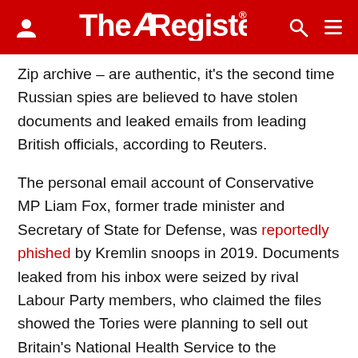The Register
Zip archive – are authentic, it's the second time Russian spies are believed to have stolen documents and leaked emails from leading British officials, according to Reuters.
The personal email account of Conservative MP Liam Fox, former trade minister and Secretary of State for Defense, was reportedly phished by Kremlin snoops in 2019. Documents leaked from his inbox were seized by rival Labour Party members, who claimed the files showed the Tories were planning to sell out Britain's National Health Service to the Americans. ®
Sponsored: Looking for simplicity in the cloud? The future is going to be open and hybrid